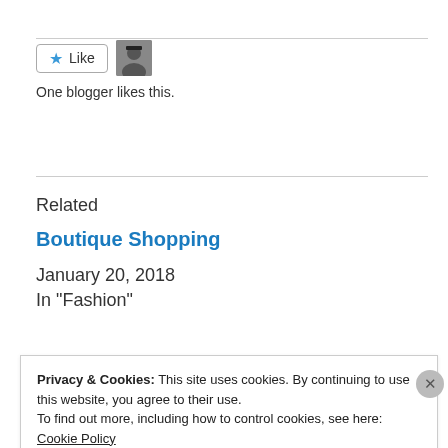[Figure (other): Like button with star icon and blogger avatar thumbnail]
One blogger likes this.
Related
Boutique Shopping
January 20, 2018
In "Fashion"
Privacy & Cookies: This site uses cookies. By continuing to use this website, you agree to their use.
To find out more, including how to control cookies, see here:
Cookie Policy
Close and accept